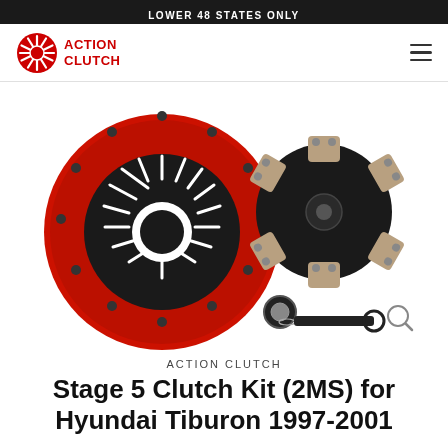LOWER 48 STATES ONLY
[Figure (logo): Action Clutch logo: red starburst icon with text ACTION CLUTCH in red bold letters]
[Figure (photo): Product photo of Action Clutch Stage 5 Clutch Kit (2MS) showing a red pressure plate, a black 6-puck clutch disc with friction pucks, a pilot bearing/seal, and an alignment tool on a white background]
ACTION CLUTCH
Stage 5 Clutch Kit (2MS) for Hyundai Tiburon 1997-2001